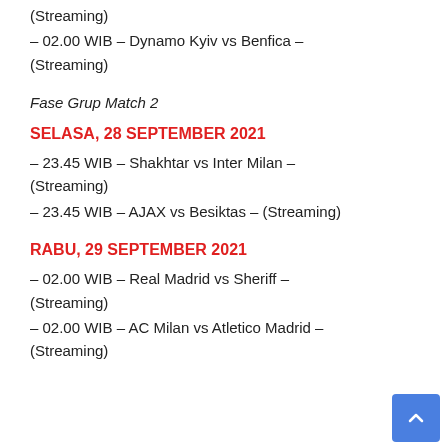(Streaming)
– 02.00 WIB – Dynamo Kyiv vs Benfica – (Streaming)
Fase Grup Match 2
SELASA, 28 SEPTEMBER 2021
– 23.45 WIB – Shakhtar vs Inter Milan – (Streaming)
– 23.45 WIB – AJAX vs Besiktas – (Streaming)
RABU, 29 SEPTEMBER 2021
– 02.00 WIB – Real Madrid vs Sheriff – (Streaming)
– 02.00 WIB – AC Milan vs Atletico Madrid – (Streaming)